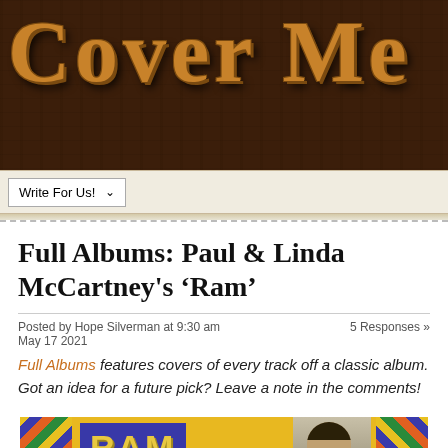[Figure (logo): Cover Me website logo with large stylized text on dark wood-grain brown background]
Write For Us!
Full Albums: Paul & Linda McCartney's 'Ram'
Posted by Hope Silverman at 9:30 am
May 17 2021
5 Responses »
Full Albums features covers of every track off a classic album. Got an idea for a future pick? Leave a note in the comments!
[Figure (photo): RAM album cover art showing yellow background with colorful chevron patterns on sides and a person looking down in center]